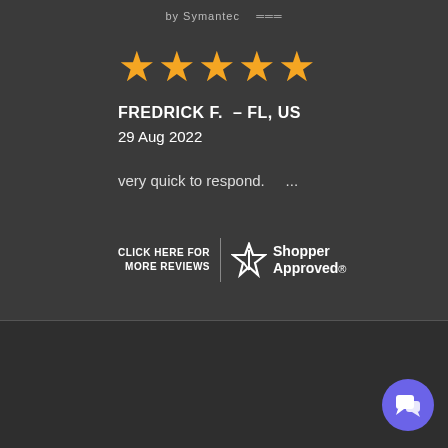by Symantec
[Figure (other): Five orange star rating icons]
FREDRICK F.  – FL, US
29 Aug 2022
very quick to respond.     ...
[Figure (logo): Shopper Approved logo with CLICK HERE FOR MORE REVIEWS text and a stylized star icon]
© 2022 reserved by Trademarkia.
Disclaimer: Communications between you and Trademarkia are protected by our Privacy Policy but not by the attorney-client Privilege or as work product. Trademarkia provides access to independent attorneys and self-help services at your specific directions. We are not a law firm or a substitute for an attorney or law firm.